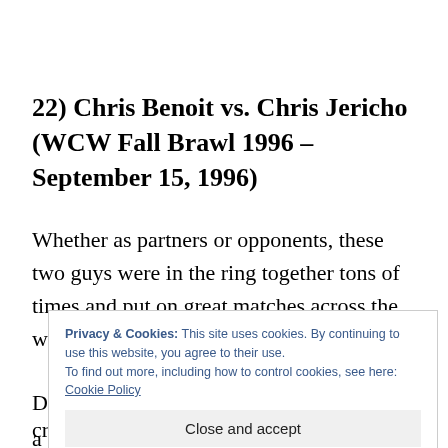22) Chris Benoit vs. Chris Jericho (WCW Fall Brawl 1996 – September 15, 1996)
Whether as partners or opponents, these two guys were in the ring together tons of times and put on great matches across the world. This
Privacy & Cookies: This site uses cookies. By continuing to use this website, you agree to their use.
To find out more, including how to control cookies, see here: Cookie Policy
Close and accept
crowd was solidly behind Benoit as he ruined